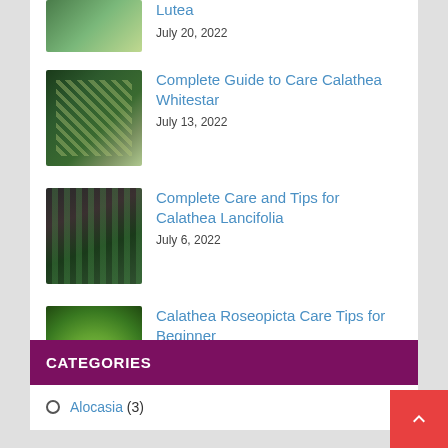[Figure (photo): Partial view of a green-leafed plant (top of page, cropped)]
July 20, 2022
Complete Guide to Care Calathea Whitestar
[Figure (photo): Dark green patterned Calathea Whitestar leaves]
July 13, 2022
Complete Care and Tips for Calathea Lancifolia
[Figure (photo): Calathea Lancifolia plant with narrow leaves and dark markings]
July 6, 2022
Calathea Roseopicta Care Tips for Beginner
[Figure (photo): Calathea Roseopicta with round green and yellow-striped leaves held in a hand]
June 28, 2022
CATEGORIES
Alocasia (3)